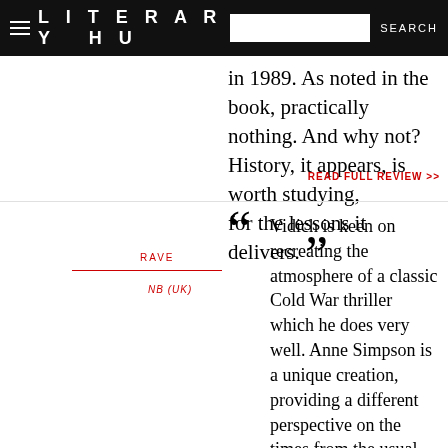LITERARY HU  SEARCH
in 1989. As noted in the book, practically nothing. And why not? History, it appears, is worth studying, for the lessons it delivers. ”
READ FULL REVIEW >>
RAVE
NB (UK)
“ Vidich is keen on recreating the atmosphere of a classic Cold War thriller which he does very well. Anne Simpson is a unique creation, providing a different perspective on the times from the usual. The feel of the novel is bolstered by iconic locations and events, evoking the use of the Cold War checkpoints for instance. This is a spy thriller that pays homage to the best of